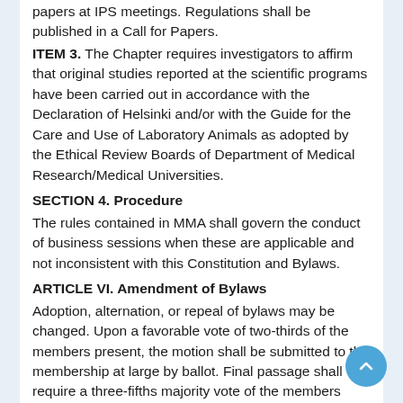papers at IPS meetings. Regulations shall be published in a Call for Papers.
ITEM 3. The Chapter requires investigators to affirm that original studies reported at the scientific programs have been carried out in accordance with the Declaration of Helsinki and/or with the Guide for the Care and Use of Laboratory Animals as adopted by the Ethical Review Boards of Department of Medical Research/Medical Universities.
SECTION 4. Procedure
The rules contained in MMA shall govern the conduct of business sessions when these are applicable and not inconsistent with this Constitution and Bylaws.
ARTICLE VI. Amendment of Bylaws
Adoption, alternation, or repeal of bylaws may be changed. Upon a favorable vote of two-thirds of the members present, the motion shall be submitted to the membership at large by ballot. Final passage shall require a three-fifths majority vote of the members responding within 30 days after submission.
ARTICLE VII. Conflict of Interest
Any committee member having an interest in a contract or other transaction or determination presented to the